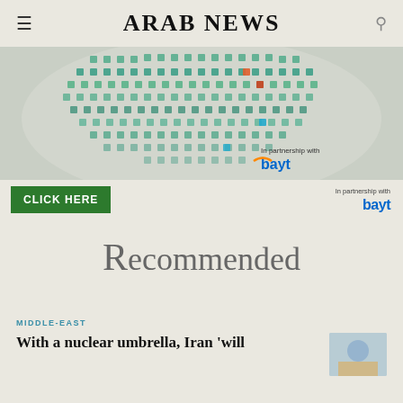ARAB NEWS
[Figure (infographic): Advertisement banner with colorful app/job icons arranged in a semicircle pattern on grey background, with 'CLICK HERE' green button and 'In partnership with bayt' logo on the right.]
Recommended
MIDDLE-EAST
With a nuclear umbrella, Iran 'will